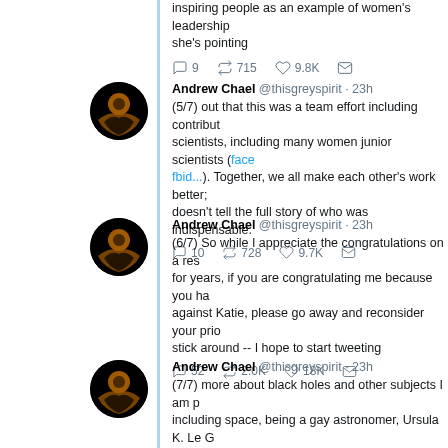inspiring people as an example of women's leadership she's pointing
9   715   9.8K
Andrew Chael @thisgreyspirit · 23h (5/7) out that this was a team effort including contributions from many scientists, including many women junior scientists (face... fbid...). Together, we all make each other's work better; doesn't tell the full story of who was indispensable.
10   728   9.7K
Andrew Chael @thisgreyspirit · 23h (6/7) So while I appreciate the congratulations on a result I worked hard on for years, if you are congratulating me because you have seen something against Katie, please go away and reconsider your priorities. If you want to stick around -- I hope to start tweeting
52   2.0K   18K
Andrew Chael @thisgreyspirit · 23h (7/7) more about black holes and other subjects I am passionate about, including space, being a gay astronomer, Ursula K. Le G... Thanks for following and I look forward to